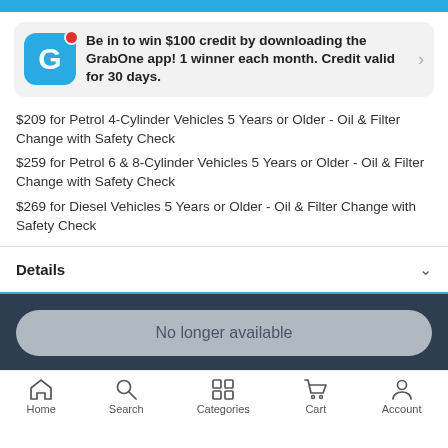[Figure (screenshot): GrabOne app promo banner with blue G icon and red notification dot]
Be in to win $100 credit by downloading the GrabOne app! 1 winner each month. Credit valid for 30 days.
$209 for Petrol 4-Cylinder Vehicles 5 Years or Older - Oil & Filter Change with Safety Check
$259 for Petrol 6 & 8-Cylinder Vehicles 5 Years or Older - Oil & Filter Change with Safety Check
$269 for Diesel Vehicles 5 Years or Older - Oil & Filter Change with Safety Check
Details
No longer available
Home   Search   Categories   Cart   Account